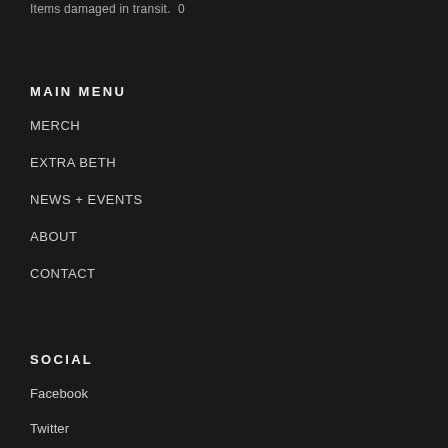Items damaged in transit. 0
MAIN MENU
MERCH
EXTRA BETH
NEWS + EVENTS
ABOUT
CONTACT
SOCIAL
Facebook
Twitter